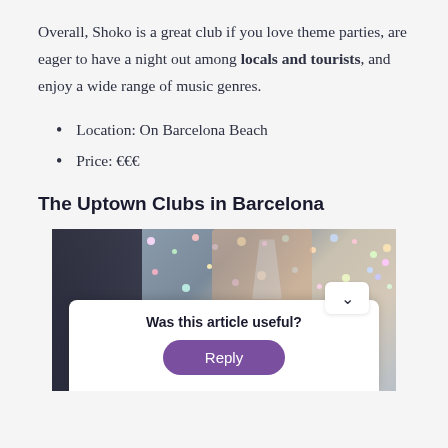Overall, Shoko is a great club if you love theme parties, are eager to have a night out among locals and tourists, and enjoy a wide range of music genres.
Location: On Barcelona Beach
Price: €€€
The Uptown Clubs in Barcelona
[Figure (photo): A person in a glittery/sparkly outfit holding a martini glass, with a white overlay card showing 'Was this article useful?' and a purple Reply button with a chevron collapse button.]